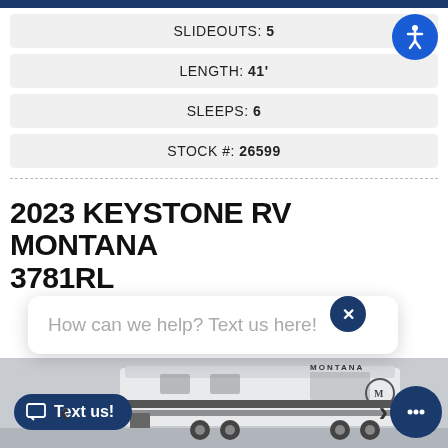| SLIDEOUTS: | 5 |
| LENGTH: | 41' |
| SLEEPS: | 6 |
| STOCK #: | 26599 |
2023 KEYSTONE RV MONTANA 3781RL
How can we help? Text us here!
[Figure (photo): Photo of a 2023 Keystone RV Montana fifth-wheel trailer exterior, white with dark accents, MONTANA branding visible on the side]
Text us!